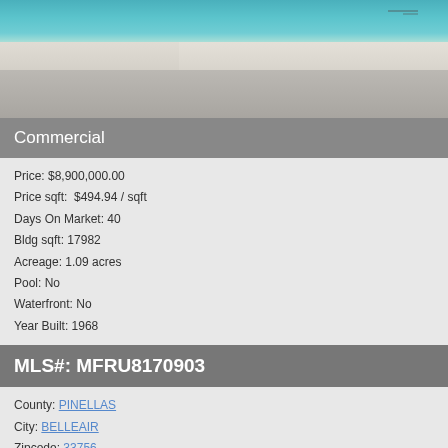[Figure (photo): Beach photo showing turquoise water, white sand, and a deck railing in the foreground]
Commercial
Price: $8,900,000.00
Price sqft:  $494.94 / sqft
Days On Market: 40
Bldg sqft: 17982
Acreage: 1.09 acres
Pool: No
Waterfront: No
Year Built: 1968
MLS#: MFRU8170903
County: PINELLAS
City: BELLEAIR
Zipcode: 33756